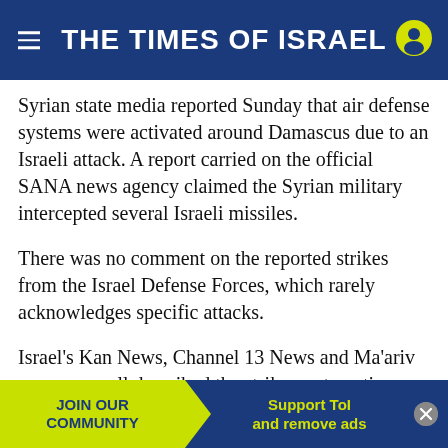THE TIMES OF ISRAEL
Syrian state media reported Sunday that air defense systems were activated around Damascus due to an Israeli attack. A report carried on the official SANA news agency claimed the Syrian military intercepted several Israeli missiles.
There was no comment on the reported strikes from the Israel Defense Forces, which rarely acknowledges specific attacks.
Israel’s Kan News, Channel 13 News and Ma’ariv newspaper all described the strikes as targeting Iranian sites, and characterized them as a response to a blast last week that hit an Israeli-owned ship in the Gu... aid ...like
[Figure (other): Advertisement banner at the bottom: JOIN OUR COMMUNITY (yellow) | Support ToI and remove ads (blue)]